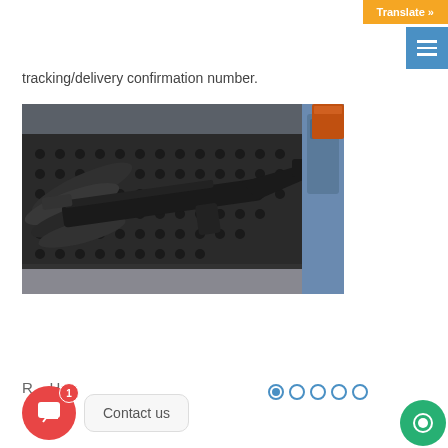Translate »
tracking/delivery confirmation number.
[Figure (photo): Black rifle/firearm with suppressor components laid out on a dark perforated metal workbench in a workshop setting with blue machinery in background]
R... H
Contact us